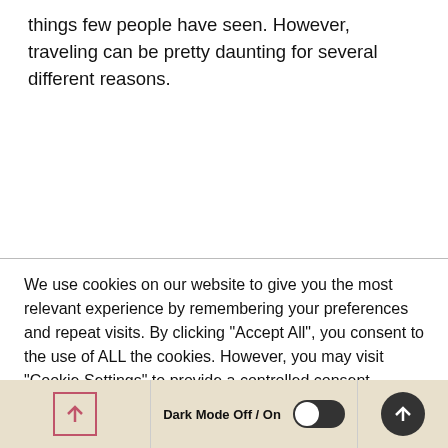things few people have seen. However, traveling can be pretty daunting for several different reasons.
We use cookies on our website to give you the most relevant experience by remembering your preferences and repeat visits. By clicking "Accept All", you consent to the use of ALL the cookies. However, you may visit "Cookie Settings" to provide a controlled consent.
[Figure (screenshot): Footer bar with a pink-bordered up-arrow box on the left, Dark Mode Off / On toggle in the center, and a dark circular up-arrow button on the right, on a beige/tan background.]